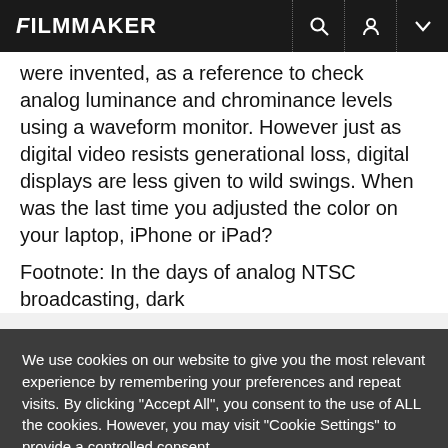FILMMAKER
were invented, as a reference to check analog luminance and chrominance levels using a waveform monitor. However just as digital video resists generational loss, digital displays are less given to wild swings. When was the last time you adjusted the color on your laptop, iPhone or iPad?
Footnote: In the days of analog NTSC broadcasting, dark
We use cookies on our website to give you the most relevant experience by remembering your preferences and repeat visits. By clicking "Accept All", you consent to the use of ALL the cookies. However, you may visit "Cookie Settings" to provide a controlled consent.